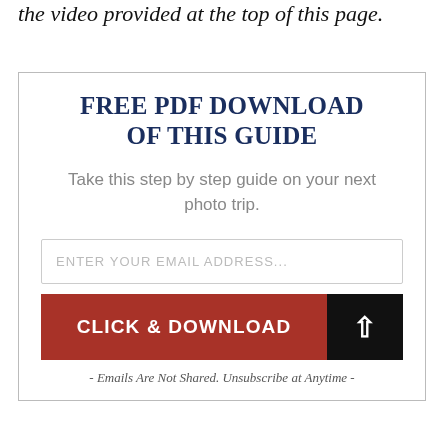the video provided at the top of this page.
FREE PDF DOWNLOAD OF THIS GUIDE
Take this step by step guide on your next photo trip.
ENTER YOUR EMAIL ADDRESS...
CLICK & DOWNLOAD
- Emails Are Not Shared. Unsubscribe at Anytime -